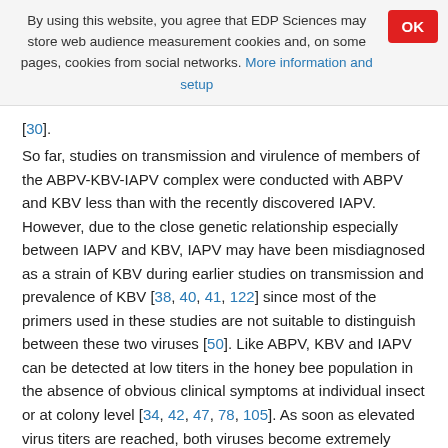By using this website, you agree that EDP Sciences may store web audience measurement cookies and, on some pages, cookies from social networks. More information and setup
[30].
So far, studies on transmission and virulence of members of the ABPV-KBV-IAPV complex were conducted with ABPV and KBV less than with the recently discovered IAPV. However, due to the close genetic relationship especially between IAPV and KBV, IAPV may have been misdiagnosed as a strain of KBV during earlier studies on transmission and prevalence of KBV [38, 40, 41, 122] since most of the primers used in these studies are not suitable to distinguish between these two viruses [50]. Like ABPV, KBV and IAPV can be detected at low titers in the honey bee population in the absence of obvious clinical symptoms at individual insect or at colony level [34, 42, 47, 78, 105]. As soon as elevated virus titers are reached, both viruses become extremely virulent [15, 45, 48, 89] as